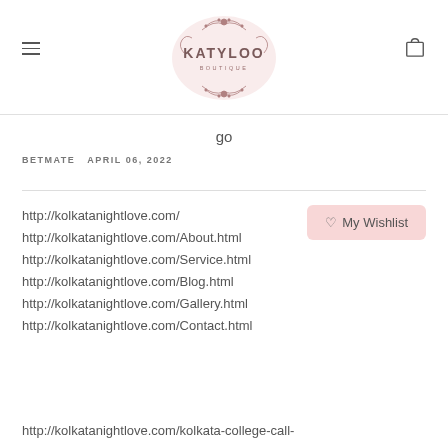[Figure (logo): Katyloo Boutique logo with decorative ornamental border in pink/mauve tones]
go
BETMATE   APRIL 06, 2022
http://kolkatanightlove.com/
http://kolkatanightlove.com/About.html
http://kolkatanightlove.com/Service.html
http://kolkatanightlove.com/Blog.html
http://kolkatanightlove.com/Gallery.html
http://kolkatanightlove.com/Contact.html
http://kolkatanightlove.com/kolkata-college-call-